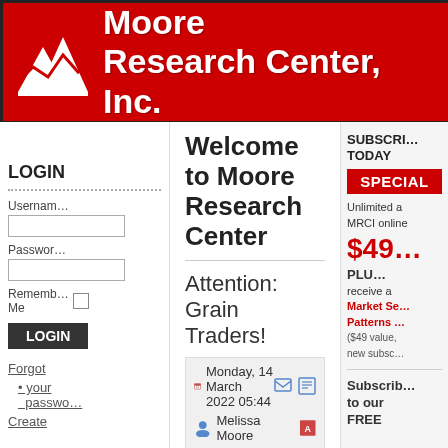[Figure (logo): Moore Research Center, Inc. logo banner — red background with white mountain/chart logo and white bold text]
LOGIN
Username
Password
Remember Me
LOGIN
Forgot
your passwo
Create
Welcome to Moore Research Center
Attention: Grain Traders!
Monday, 14 March 2022 05:44   Melissa Moore
With food inflation surging and some grain prices reaching historic levels, you may find MRCI's new 2022 Historical Grains Report especially valuable this year! More info here: https://bit.ly/3CDOmTz
August Free Trades
Futures Trading   Spread Trading
SUBSCRIBE TODAY
SPECIAL
Unlimited a MRCI online
$49
PLU
receive a Market Se Patterns ($49 value, new subsc
Subscribe to our FREE